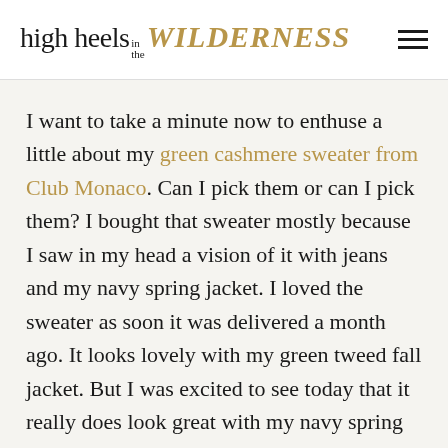high heels in the WILDERNESS
I want to take a minute now to enthuse a little about my green cashmere sweater from Club Monaco. Can I pick them or can I pick them? I bought that sweater mostly because I saw in my head a vision of it with jeans and my navy spring jacket. I loved the sweater as soon it was delivered a month ago. It looks lovely with my green tweed fall jacket. But I was excited to see today that it really does look great with my navy spring blazer. Phew. I think that my investment in that sweater